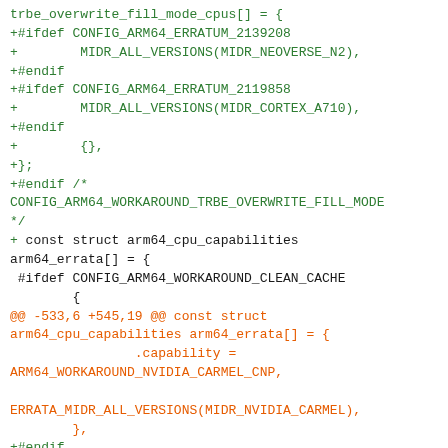Code diff showing trbe_overwrite_fill_mode_cpus array and arm64_errata array modifications with #ifdef CONFIG_ARM64 conditionals